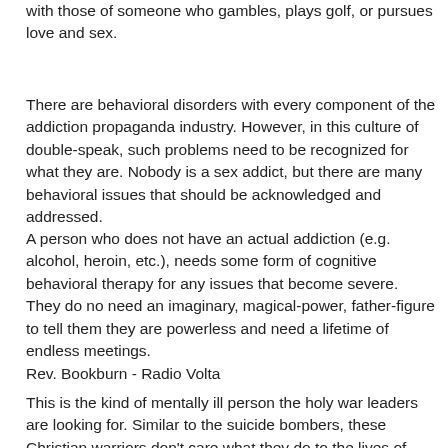with those of someone who gambles, plays golf, or pursues love and sex.
There are behavioral disorders with every component of the addiction propaganda industry. However, in this culture of double-speak, such problems need to be recognized for what they are. Nobody is a sex addict, but there are many behavioral issues that should be acknowledged and addressed.
A person who does not have an actual addiction (e.g. alcohol, heroin, etc.), needs some form of cognitive behavioral therapy for any issues that become severe. They do no need an imaginary, magical-power, father-figure to tell them they are powerless and need a lifetime of endless meetings.
Rev. Bookburn - Radio Volta
This is the kind of mentally ill person the holy war leaders are looking for. Similar to the suicide bombers, these Christian warriors don't care what they do to the lives of others, or